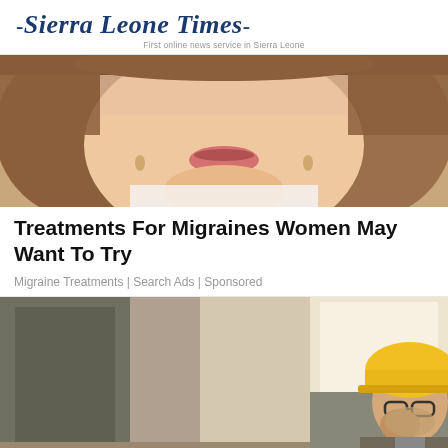-Sierra Leone Times- First online news service in Sierra Leone
[Figure (photo): Close-up photo of a woman with brown hair holding her head, showing apparent migraine pain, cropped to show face and upper body]
Treatments For Migraines Women May Want To Try
Migraine Treatments | Search Ads | Sponsored
[Figure (photo): Photo of a man wearing a yellow hard hat and glasses in a construction setting, coughing or holding his fist to his mouth]